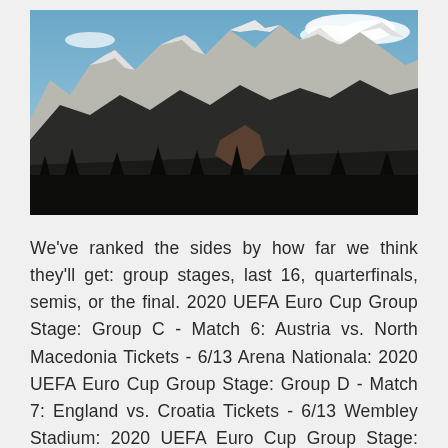[Figure (photo): A mountain landscape with snow-capped peaks under a blue sky with clouds. Dark forested slopes in the foreground with rocky snow-covered ridgelines above.]
We've ranked the sides by how far we think they'll get: group stages, last 16, quarterfinals, semis, or the final. 2020 UEFA Euro Cup Group Stage: Group C - Match 6: Austria vs. North Macedonia Tickets - 6/13 Arena Nationala: 2020 UEFA Euro Cup Group Stage: Group D - Match 7: England vs. Croatia Tickets - 6/13 Wembley Stadium: 2020 UEFA Euro Cup Group Stage: Group D - Match 8: Czech Republic vs.